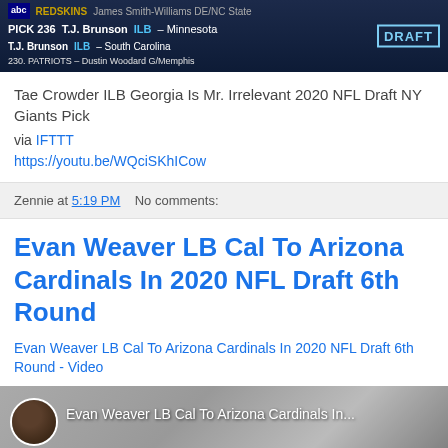[Figure (screenshot): NFL Draft broadcast screen showing player picks: PICK 236, T.J. Brunson ILB South Carolina, 230 PATRIOTS Dustin Woodard G/Memphis, REDSKINS James Smith-Williams DE/NC State, with ABC logo and DRAFT logo]
Tae Crowder ILB Georgia Is Mr. Irrelevant 2020 NFL Draft NY Giants Pick
via IFTTT
https://youtu.be/WQciSKhICow
Zennie at 5:19 PM   No comments:
Evan Weaver LB Cal To Arizona Cardinals In 2020 NFL Draft 6th Round
Evan Weaver LB Cal To Arizona Cardinals In 2020 NFL Draft 6th Round - Video
[Figure (screenshot): Video thumbnail showing a man's face with text overlay: Evan Weaver LB Cal To Arizona Cardinals In... and a circular avatar of a Black man in a suit in the top left]